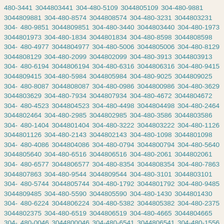480-3441 3044803441 304-480-5109 3044805109 304-480-9881 3044809881 304-480-8574 3044808574 304-480-3231 3044803231 304-480-9851 3044809851 304-480-3440 3044803440 304-480-1973 3044801973 304-480-1834 3044801834 304-480-8598 3044808598 304-480-4977 3044804977 304-480-5006 3044805006 304-480-8129 3044808129 304-480-2099 3044802099 304-480-3913 3044803913 304-480-6194 3044806194 304-480-6316 3044806316 304-480-9415 3044809415 304-480-5984 3044805984 304-480-9025 3044809025 304-480-8087 3044808087 304-480-0986 3044800986 304-480-3629 3044803629 304-480-7934 3044807934 304-480-4672 3044804672 304-480-4523 3044804523 304-480-4498 3044804498 304-480-2464 3044802464 304-480-2985 3044802985 304-480-3586 3044803586 304-480-1404 3044801404 304-480-3222 3044803222 304-480-1126 3044801126 304-480-2143 3044802143 304-480-1098 3044801098 304-480-4086 3044804086 304-480-0794 3044800794 304-480-5640 3044805640 304-480-6516 3044806516 304-480-2061 3044802061 304-480-6577 3044806577 304-480-8354 3044808354 304-480-7863 3044807863 304-480-9544 3044809544 304-480-3101 3044803101 304-480-5744 3044805744 304-480-1792 3044801792 304-480-9485 3044809485 304-480-5590 3044805590 304-480-1430 3044801430 304-480-6224 3044806224 304-480-5382 3044805382 304-480-2375 3044802375 304-480-6519 3044806519 304-480-4665 3044804665 304-480-0046 3044800046 304-480-6541 3044806541 304-480-1556 3044801556 304-480-7335 3044807335 304-480-0293 3044800293 304-480-9232 3044809232 304-480-3113 3044803113 304-480-3246 3044803246 304-480-7667 3044807667 304-480-1756 3044801756 304-480-7559 3044807559 304-480-8829 3044808829 304-480-2872